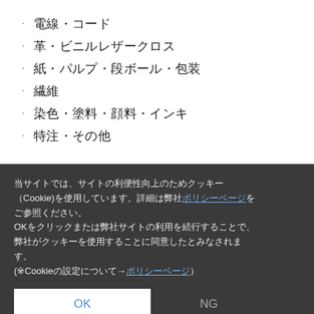電線・コード
革・ビニルレザークロス
紙・パルプ・段ボール・包装
繊維
染色・塗料・顔料・インキ
特注・その他
当サイトでは、サイトの利便性向上のためクッキー（Cookie)を使用しています。詳細は弊社ポリシーページをご参照ください。
OKをクリックまたは弊社サイトの利用を続行することで、弊社がクッキーを使用することに同意したとみなされます。
(※Cookieの設定について→ポリシーページ)
OK
NG